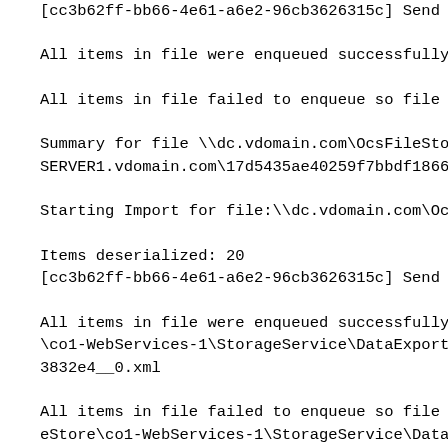[cc3b62ff-bb66-4e61-a6e2-96cb3626315c] Send Enqu
All items in file were enqueued successfully, w:
All items in file failed to enqueue so file wil:
Summary for file \\dc.vdomain.com\OcsFileStore\c
SERVER1.vdomain.com\17d5435ae40259f7bbdf18667763
Starting Import for file:\\dc.vdomain.com\OcsFil
Items deserialized: 20
[cc3b62ff-bb66-4e61-a6e2-96cb3626315c] Send Enqu
All items in file were enqueued successfully, w:
\co1-WebServices-1\StorageService\DataExport\20:
3832e4__0.xml
All items in file failed to enqueue so file wil:
eStore\co1-WebServices-1\StorageService\DataExpo
86684d3832e4__0.xml
Summary for file \\dc.vdomain.com\OcsFileStore\c
SERVER1.vdomain.com\904f6c9b8ac951ae8b3c86684d38